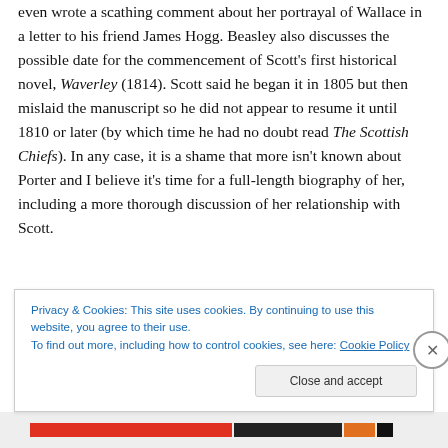even wrote a scathing comment about her portrayal of Wallace in a letter to his friend James Hogg. Beasley also discusses the possible date for the commencement of Scott's first historical novel, Waverley (1814). Scott said he began it in 1805 but then mislaid the manuscript so he did not appear to resume it until 1810 or later (by which time he had no doubt read The Scottish Chiefs). In any case, it is a shame that more isn't known about Porter and I believe it's time for a full-length biography of her, including a more thorough discussion of her relationship with Scott.
It's also time for a critical edition of The Scottish Chiefs. In
Privacy & Cookies: This site uses cookies. By continuing to use this website, you agree to their use.
To find out more, including how to control cookies, see here: Cookie Policy